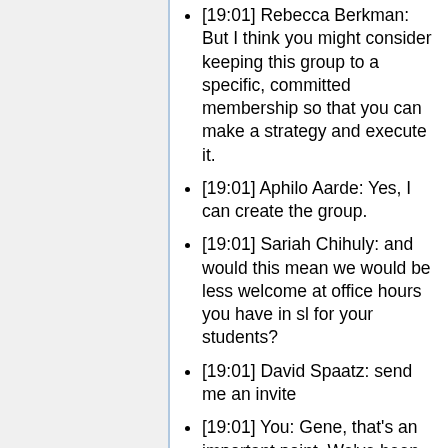[19:01] Rebecca Berkman: But I think you might consider keeping this group to a specific, committed membership so that you can make a strategy and execute it.
[19:01] Aphilo Aarde: Yes, I can create the group.
[19:01] Sariah Chihuly: and would this mean we would be less welcome at office hours you have in sl for your students?
[19:01] David Spaatz: send me an invite
[19:01] You: Gene, that's an important point. We've been much more productive asynchronously, than the few times we've gathered in-world.
[19:01] lIHd Sellery: please send me an invite as well